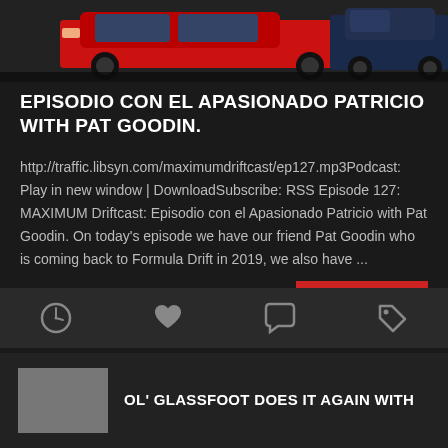[Figure (photo): Red and blue sports/drift cars parked in a lot, partially cropped at top]
EPISODIO CON EL APASIONADO PATRICIO WITH PAT GOODIN.
http://traffic.libsyn.com/maximumdriftcast/ep127.mp3Podcast: Play in new window | DownloadSubscribe: RSS Episode 127: MAXIMUM Driftcast: Episodio con el Apasionado Patricio with Pat Goodin. On today’s episode we have our friend Pat Goodin who is coming back to Formula Drift in 2019, we also have ...
READ MORE »
December 14, 2018   0
[Figure (infographic): Icon bar with clock, heart, comment bubble, and tag icons]
OL’ GLASSFOOT DOES IT AGAIN WITH